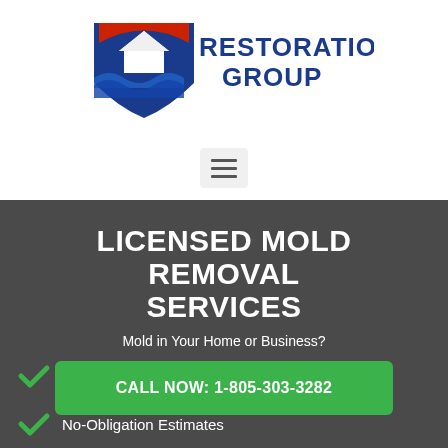[Figure (logo): Restoration Group logo with house icon and stylized water/flame design in red, white, and blue with text 'RESTORATION GROUP']
[Figure (other): Hamburger menu button (three horizontal lines) in a light grey rounded square]
LICENSED MOLD REMOVAL SERVICES
Mold in Your Home or Business?
CALL NOW: 1-805-303-3282
Environmental Services
No-Obligation Estimates